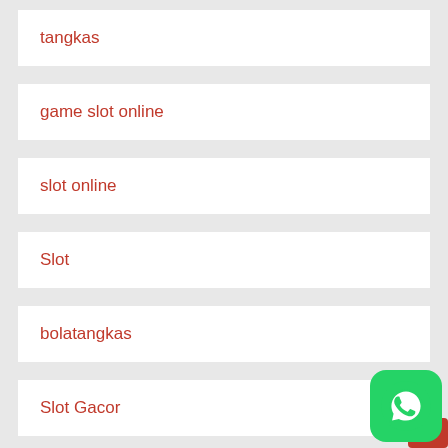tangkas
game slot online
slot online
Slot
bolatangkas
Slot Gacor
slot online
[Figure (logo): WhatsApp icon button, green rounded square with white phone/chat logo, with a red square partially visible behind it at bottom right]